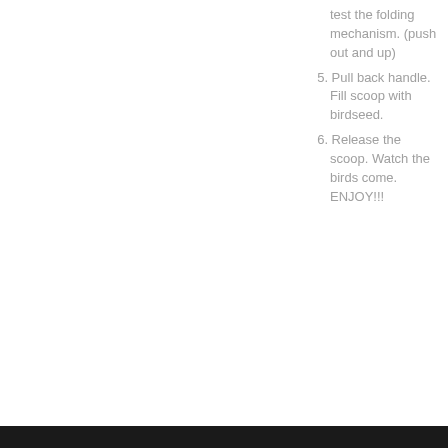test the folding mechanism. (push out and up)
5. Pull back handle. Fill scoop with birdseed.
6. Release the scoop. Watch the birds come. ENJOY!!!